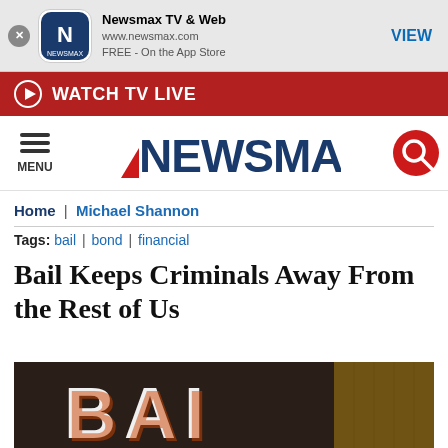[Figure (screenshot): Newsmax TV & Web app store banner with icon, URL, and VIEW button]
[Figure (screenshot): Red WATCH TV LIVE bar with play icon]
[Figure (logo): Newsmax logo with hamburger menu and search icon]
Home | Michael Shannon
Tags: bail | bond | financial
Bail Keeps Criminals Away From the Rest of Us
[Figure (photo): Photo of a bail bond sign with large white letters on dark background]